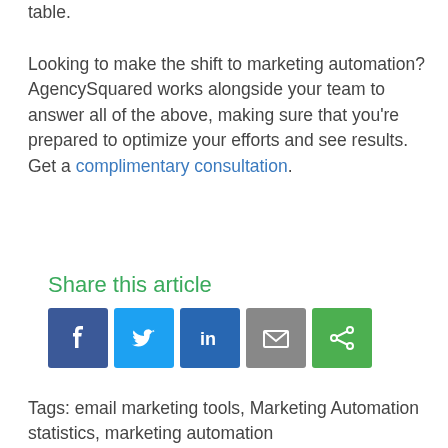table.
Looking to make the shift to marketing automation? AgencySquared works alongside your team to answer all of the above, making sure that you're prepared to optimize your efforts and see results. Get a complimentary consultation.
Share this article
[Figure (infographic): Social sharing icons: Facebook (blue), Twitter (light blue), LinkedIn (dark blue), Email (grey), Share/Other (green)]
Tags: email marketing tools, Marketing Automation statistics, marketing automation